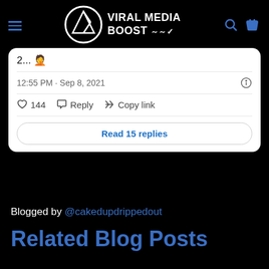VIRAL MEDIA BOOST
2... 🤦
12:55 PM · Sep 8, 2021
♡ 144   Reply   Copy link
Read 15 replies
Blogged by @cakedupdrippedout
Related Blog Posts